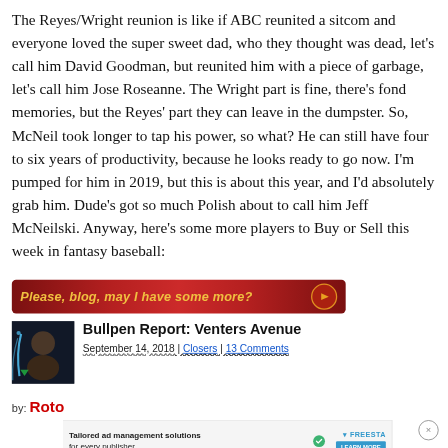The Reyes/Wright reunion is like if ABC reunited a sitcom and everyone loved the super sweet dad, who they thought was dead, let's call him David Goodman, but reunited him with a piece of garbage, let's call him Jose Roseanne.  The Wright part is fine, there's fond memories, but the Reyes' part they can leave in the dumpster.  So, McNeil took longer to tap his power, so what?  He can still have four to six years of productivity, because he looks ready to go now.  I'm pumped for him in 2019, but this is about this year, and I'd absolutely grab him.  Dude's got so much Polish about to call him Jeff McNeilski.  Anyway, here's some more players to Buy or Sell this week in fantasy baseball:
[Figure (other): Red gradient button with gold italic text 'Please, blog, may I have some more?' and an orange arrow circle on the right]
[Figure (photo): Thumbnail photo of a person with a dark background, with a lightsaber graphic overlay]
Bullpen Report: Venters Avenue
September 14, 2018 | Closers | 13 Comments
by: Roto...
[Figure (infographic): Advertisement overlay: 'Tailored ad management solutions for every publisher' with Freesta logo and LEARN MORE button, plus a close X button]